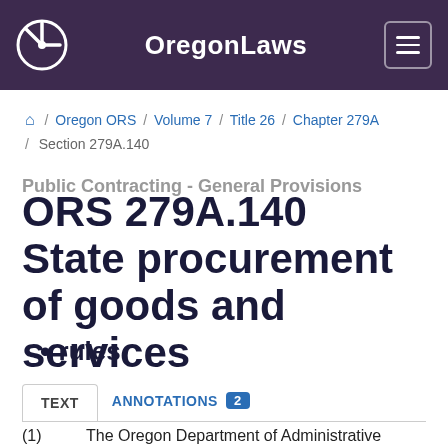OregonLaws
/ Oregon ORS / Volume 7 / Title 26 / Chapter 279A / Section 279A.140
Public Contracting - General Provisions
ORS 279A.140 State procurement of goods and services
rules
TEXT   ANNOTATIONS 2
(1)   The Oregon Department of Administrative Services shall conduct all procurements and